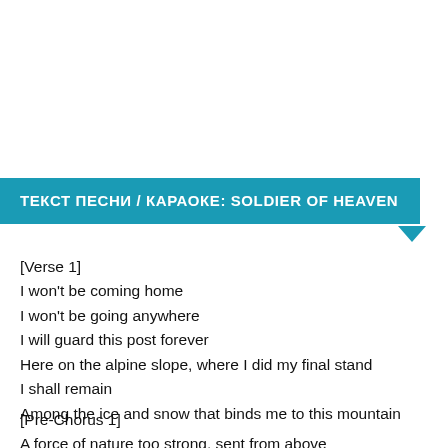ТЕКСТ ПЕСНИ / КАРАОКЕ: SOLDIER OF HEAVEN
[Verse 1]
I won't be coming home
I won't be going anywhere
I will guard this post forever
Here on the alpine slope, where I did my final stand
I shall remain
Among the ice and snow that binds me to this mountain
[Pre-Chorus 1]
A force of nature too strong, sent from above